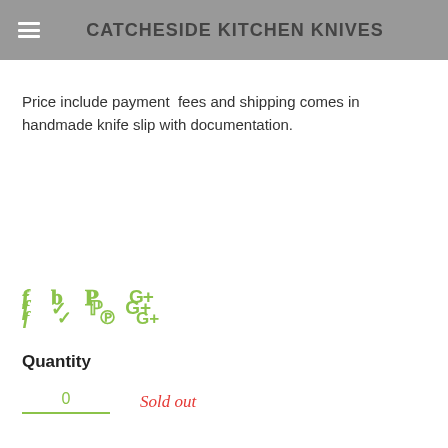CATCHESIDE KITCHEN KNIVES
Price include payment  fees and shipping comes in handmade knife slip with documentation.
[Figure (other): Social media icons: Facebook (f), Twitter (bird), Pinterest (P), Google+ (G+) in olive/green color]
Quantity
0   Sold out